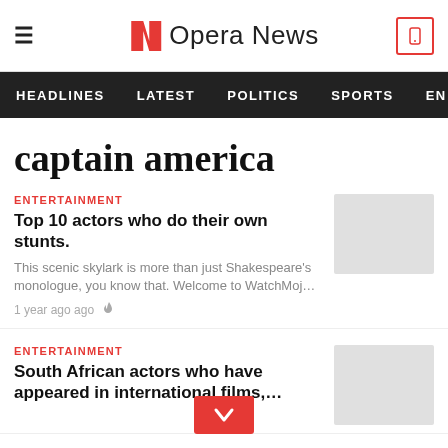Opera News
HEADLINES   LATEST   POLITICS   SPORTS   EN
captain america
ENTERTAINMENT
Top 10 actors who do their own stunts.
This scenic skylark is more than just Shakespeare's monologue, you know that. Welcome to WatchMoj…
1 year ago ago
ENTERTAINMENT
South African actors who have appeared in international films,…